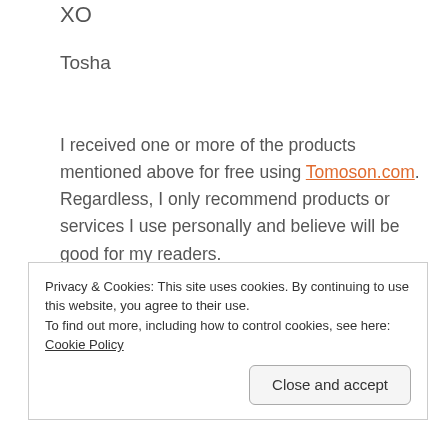XO
Tosha
I received one or more of the products mentioned above for free using Tomoson.com. Regardless, I only recommend products or services I use personally and believe will be good for my readers.
Sponsored Content
Privacy & Cookies: This site uses cookies. By continuing to use this website, you agree to their use.
To find out more, including how to control cookies, see here: Cookie Policy
Close and accept